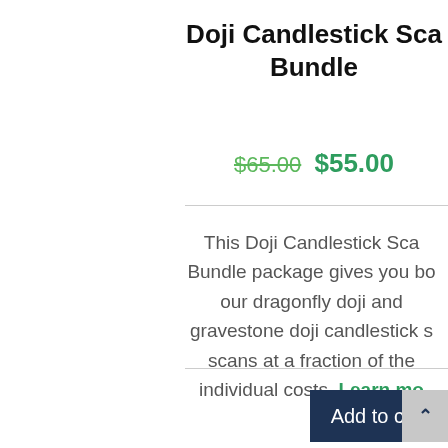Doji Candlestick Scanner Bundle
$65.00 $55.00
This Doji Candlestick Scanner Bundle package gives you both our dragonfly doji and gravestone doji candlestick scans at a fraction of the individual costs. Learn more
Add to cart